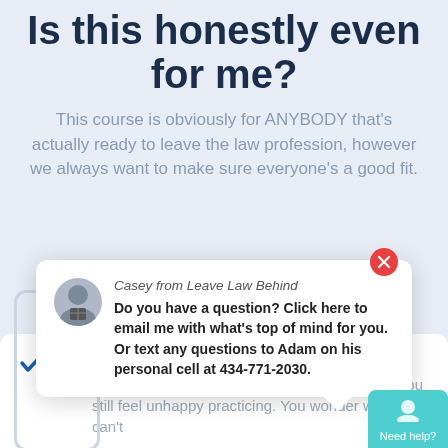Is this honestly even for me?
This course is obviously for ANYBODY that's actually ready to leave the law profession, however we always want to make sure everyone's a good fit.
[Figure (screenshot): Chat popup widget from 'Casey from Leave Law Behind' saying 'Do you have a question? Click here to email me with what's top of mind for you. Or text any questions to Adam on his personal cell at 434-771-2030.' with a red close button and a teal 'Need help?' button in the corner. Below is a checklist item: 'You're unhappy practicing law' with description 'Law might tick boxes, or give you income, but you still feel unhappy practicing. You wonder why you can't']